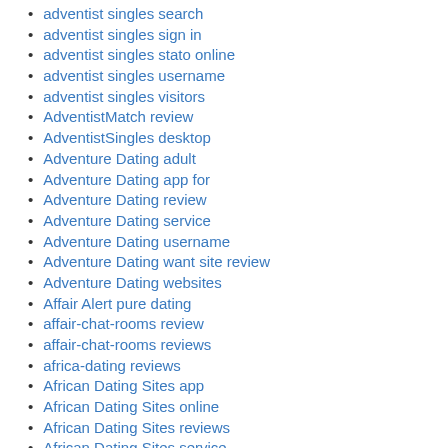adventist singles search
adventist singles sign in
adventist singles stato online
adventist singles username
adventist singles visitors
AdventistMatch review
AdventistSingles desktop
Adventure Dating adult
Adventure Dating app for
Adventure Dating review
Adventure Dating service
Adventure Dating username
Adventure Dating want site review
Adventure Dating websites
Affair Alert pure dating
affair-chat-rooms review
affair-chat-rooms reviews
africa-dating reviews
African Dating Sites app
African Dating Sites online
African Dating Sites reviews
African Dating Sites service
African Dating Sites site